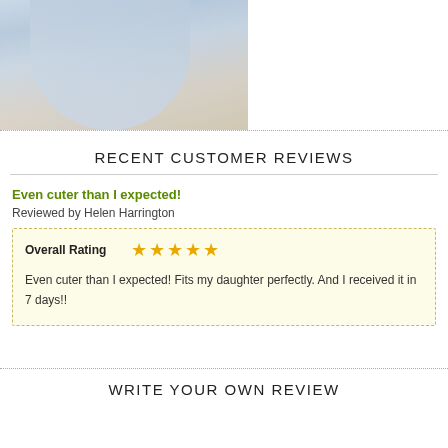[Figure (photo): Photo of a light blue flowing dress/gown in a room with furniture]
RECENT CUSTOMER REVIEWS
Even cuter than I expected!
Reviewed by Helen Harrington
| Overall Rating | ★★★★★ |
| --- | --- |
| Even cuter than I expected! Fits my daughter perfectly. And I received it in 7 days!! |  |
WRITE YOUR OWN REVIEW